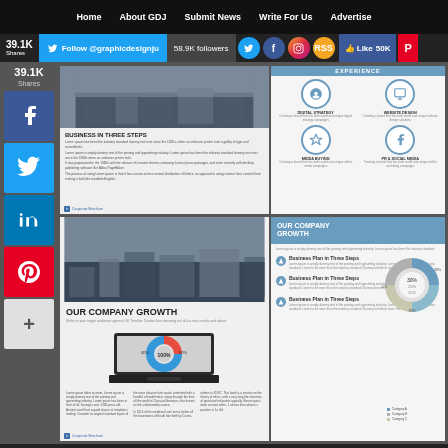Home | About GDJ | Submit News | Write For Us | Advertise
39.1K Shares | Follow @graphicdesignju | 58.9K followers | Like 50K
[Figure (screenshot): Corporate brochure spread showing 'BUSINESS IN THREE STEPS' with city photo and EXPERIENCE section with service icons]
[Figure (screenshot): Corporate brochure spread showing 'OUR COMPANY GROWTH' with laptop donut chart and right panel with business points and donut chart]